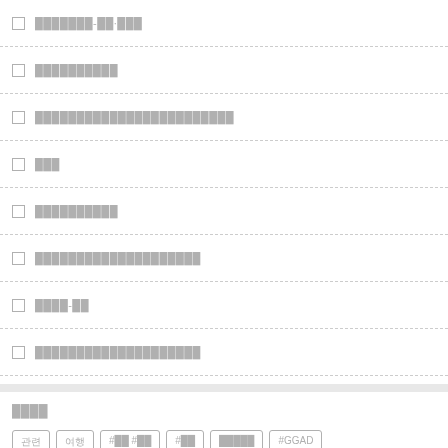□ ███████-██·███
□ ██████████
□ ████████████████████████
□ ███
□ ██████████
□ ████████████████████
□ ████-██
□ ████████████████████
████
관련 | 여행 | #██ #██ | #██ | █████ | #GGAD
███████ | golden tric | ███ ██ ██ | ██